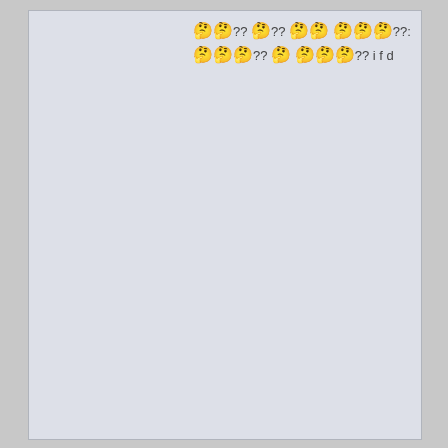🤔🤔?? 🤔?? 🤔🤔 🤔🤔🤔??: 🤔🤔🤔?? 🤔 🤔🤔🤔?? i f d